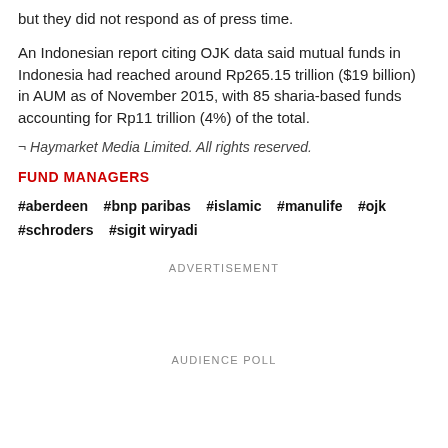but they did not respond as of press time.
An Indonesian report citing OJK data said mutual funds in Indonesia had reached around Rp265.15 trillion ($19 billion) in AUM as of November 2015, with 85 sharia-based funds accounting for Rp11 trillion (4%) of the total.
¬ Haymarket Media Limited. All rights reserved.
FUND MANAGERS
#aberdeen   #bnp paribas   #islamic   #manulife   #ojk   #schroders   #sigit wiryadi
ADVERTISEMENT
AUDIENCE POLL